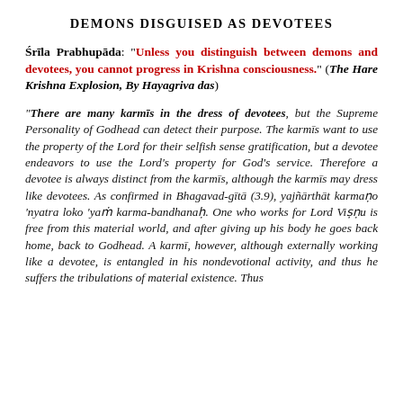DEMONS DISGUISED AS DEVOTEES
Śrīla Prabhupāda: "Unless you distinguish between demons and devotees, you cannot progress in Krishna consciousness." (The Hare Krishna Explosion, By Hayagriva das)
"There are many karmīs in the dress of devotees, but the Supreme Personality of Godhead can detect their purpose. The karmīs want to use the property of the Lord for their selfish sense gratification, but a devotee endeavors to use the Lord's property for God's service. Therefore a devotee is always distinct from the karmīs, although the karmīs may dress like devotees. As confirmed in Bhagavad-gītā (3.9), yajñārthāt karmaṇo 'nyatra loko 'yaṁ karma-bandhanaḥ. One who works for Lord Viṣṇu is free from this material world, and after giving up his body he goes back home, back to Godhead. A karmī, however, although externally working like a devotee, is entangled in his nondevotional activity, and thus he suffers the tribulations of material existence. Thus